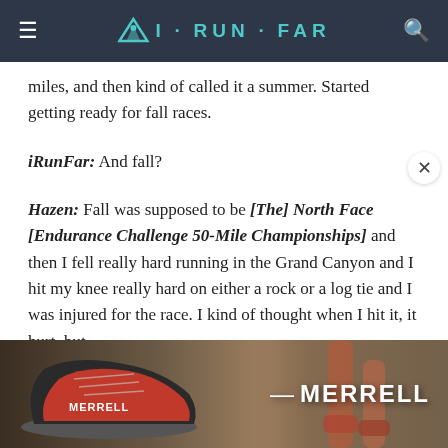iRunFar
miles, and then kind of called it a summer. Started getting ready for fall races.
iRunFar: And fall?
Hazen: Fall was supposed to be [The] North Face [Endurance Challenge 50-Mile Championships] and then I fell really hard running in the Grand Canyon and I hit my knee really hard on either a rock or a log tie and I was injured for the race. I kind of thought when I hit it, it hurt, but….
iRunFar: And you came out to San Francisco.
[Figure (photo): Merrell shoe advertisement banner showing trail running shoes and a runner's legs on dirt trail with MERRELL branding]